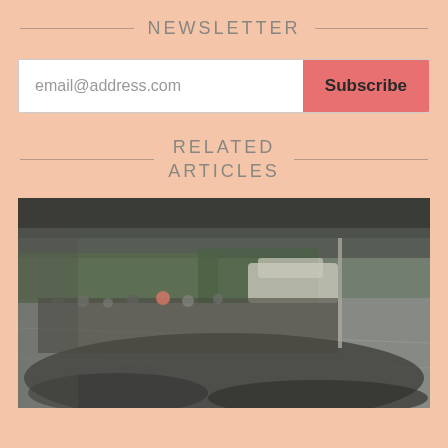NEWSLETTER
email@address.com  Subscribe
RELATED ARTICLES
[Figure (photo): A blurry outdoor scene showing a large crowd of people gathered in what appears to be a parking lot or open paved area, with vehicles visible in the background and trees/vegetation behind them.]